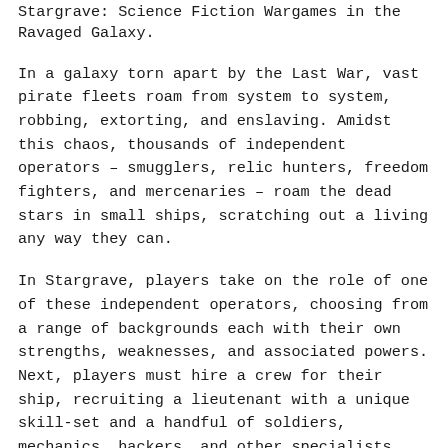Stargrave: Science Fiction Wargames in the Ravaged Galaxy.
In a galaxy torn apart by the Last War, vast pirate fleets roam from system to system, robbing, extorting, and enslaving. Amidst this chaos, thousands of independent operators – smugglers, relic hunters, freedom fighters, and mercenaries – roam the dead stars in small ships, scratching out a living any way they can.
In Stargrave, players take on the role of one of these independent operators, choosing from a range of backgrounds each with their own strengths, weaknesses, and associated powers. Next, players must hire a crew for their ship, recruiting a lieutenant with a unique skill-set and a handful of soldiers, mechanics, hackers, and other specialists. Some captains may even recruit strange alien lifeforms with abilities no humanoid could ever possess.